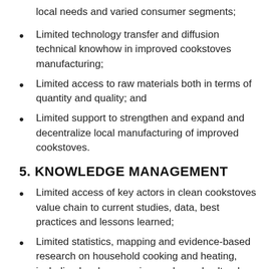local needs and varied consumer segments;
Limited technology transfer and diffusion technical knowhow in improved cookstoves manufacturing;
Limited access to raw materials both in terms of quantity and quality; and
Limited support to strengthen and expand and decentralize local manufacturing of improved cookstoves.
5. KNOWLEDGE MANAGEMENT
Limited access of key actors in clean cookstoves value chain to current studies, data, best practices and lessons learned;
Limited statistics, mapping and evidence-based research on household cooking and heating, including local economic, gender and cultural